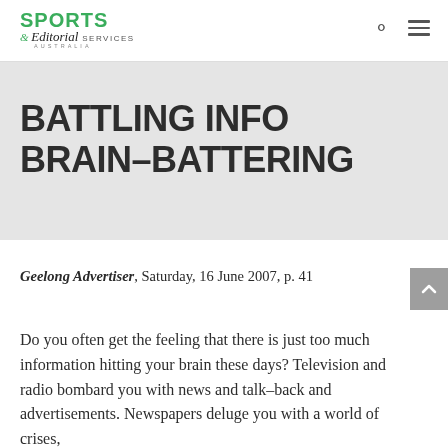SPORTS & Editorial SERVICES AUSTRALIA
BATTLING INFO BRAIN-BATTERING
Geelong Advertiser, Saturday, 16 June 2007, p. 41
Do you often get the feeling that there is just too much information hitting your brain these days? Television and radio bombard you with news and talk-back and advertisements. Newspapers deluge you with a world of crises,